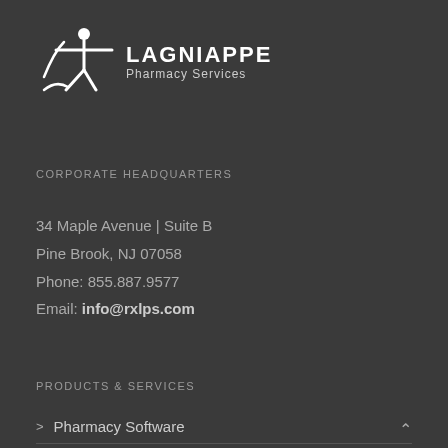[Figure (logo): Lagniappe Pharmacy Services logo with stylized human figure and company name]
CORPORATE HEADQUARTERS
34 Maple Avenue | Suite B
Pine Brook, NJ 07058
Phone: 855.887.9577
Email: info@rxlps.com
PRODUCTS & SERVICES
> Pharmacy Software
> Pharmacy POS